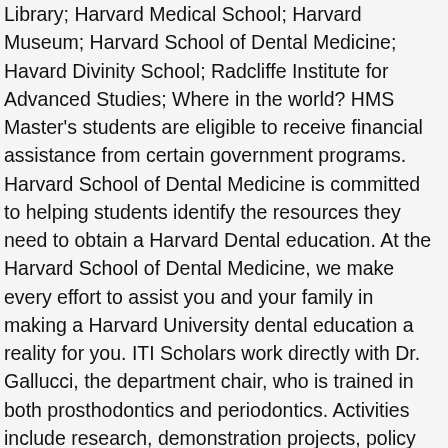Library; Harvard Medical School; Harvard Museum; Harvard School of Dental Medicine; Havard Divinity School; Radcliffe Institute for Advanced Studies; Where in the world? HMS Master's students are eligible to receive financial assistance from certain government programs. Harvard School of Dental Medicine is committed to helping students identify the resources they need to obtain a Harvard Dental education. At the Harvard School of Dental Medicine, we make every effort to assist you and your family in making a Harvard University dental education a reality for you. ITI Scholars work directly with Dr. Gallucci, the department chair, who is trained in both prosthodontics and periodontics. Activities include research, demonstration projects, policy statements, conferences and seminars. The Harvard School of Dental Medicine (HSDM) is the dental school of Harvard University.It is located in the Longwood Medical Area in Boston, Massachusetts.In addition to the DMD degree, HSDM offers specialty training programs, advanced training programs, and a PhD program through the Harvard Graduate School of Arts and Sciences.The program considers dentistry a specialty of